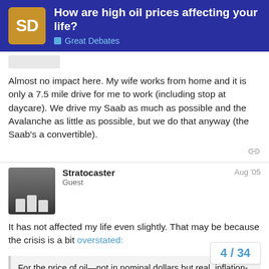How are high oil prices affecting your life? | Great Debates
Almost no impact here. My wife works from home and it is only a 7.5 mile drive for me to work (including stop at daycare). We drive my Saab as much as possible and the Avalanche as little as possible, but we do that anyway (the Saab's a convertible).
Stratocaster | Guest | Aug '05
It has not affected my life even slightly. That may be because the crisis is a bit overstated:
For the price of oil—not in nominal dollars but real, inflation-adjusted dollars—to surpass the record set in January 1981, it would have to be $86.72 per barrel. La... Friday it... $65.35. For headlines about "record" ga... accurate, a gallon would have to cost $b...
4 / 34